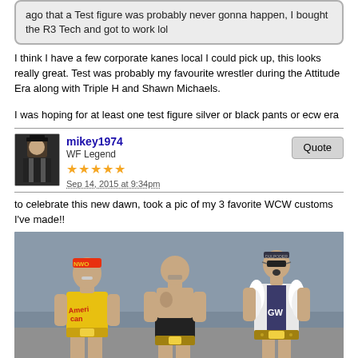ago that a Test figure was probably never gonna happen, I bought the R3 Tech and got to work lol
I think I have a few corporate kanes local I could pick up, this looks really great. Test was probably my favourite wrestler during the Attitude Era along with Triple H and Shawn Michaels.
I was hoping for at least one test figure silver or black pants or ecw era
mikey1974
WF Legend
Sep 14, 2015 at 9:34pm
to celebrate this new dawn, took a pic of my 3 favorite WCW customs I've made!!
[Figure (photo): Three WCW wrestling action figures: Hulk Hogan in yellow shirt on left, Goldberg in center, and a third figure with white feathered jacket on right holding a championship belt.]